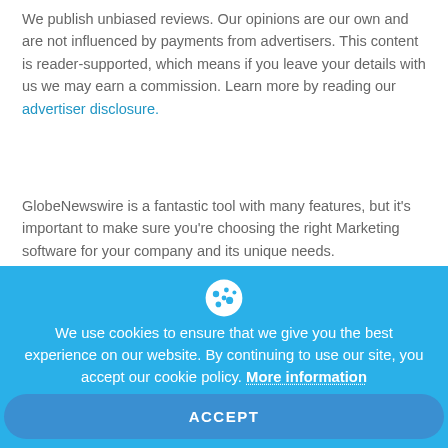[Figure (logo): Circular logo with green and purple gradient]
We publish unbiased reviews. Our opinions are our own and are not influenced by payments from advertisers. This content is reader-supported, which means if you leave your details with us we may earn a commission. Learn more by reading our advertiser disclosure.
GlobeNewswire is a fantastic tool with many features, but it's important to make sure you're choosing the right Marketing software for your company and its unique needs. GlobeNewswire has some strong competitors and alternatives,
We use cookies to ensure that we give you the best experience on our website. By continuing to use our site, you accept our cookie policy. More information
ACCEPT